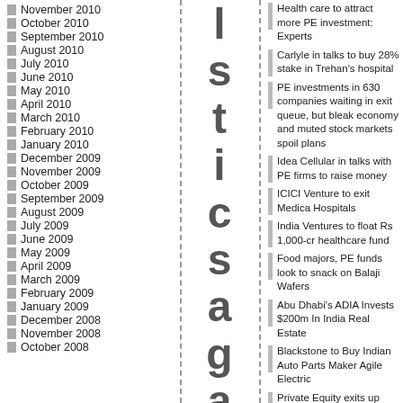November 2010
October 2010
September 2010
August 2010
July 2010
June 2010
May 2010
April 2010
March 2010
February 2010
January 2010
December 2009
November 2009
October 2009
September 2009
August 2009
July 2009
June 2009
May 2009
April 2009
March 2009
February 2009
January 2009
December 2008
November 2008
October 2008
l s t i c s a g a i n
Pr iv at
Health care to attract more PE investment: Experts
Carlyle in talks to buy 28% stake in Trehan's hospital
PE investments in 630 companies waiting in exit queue, but bleak economy and muted stock markets spoil plans
Idea Cellular in talks with PE firms to raise money
ICICI Venture to exit Medica Hospitals
India Ventures to float Rs 1,000-cr healthcare fund
Food majors, PE funds look to snack on Balaji Wafers
Abu Dhabi's ADIA Invests $200m In India Real Estate
Blackstone to Buy Indian Auto Parts Maker Agile Electric
Private Equity exits up 38% in April-June 2013: Venture Intelligence